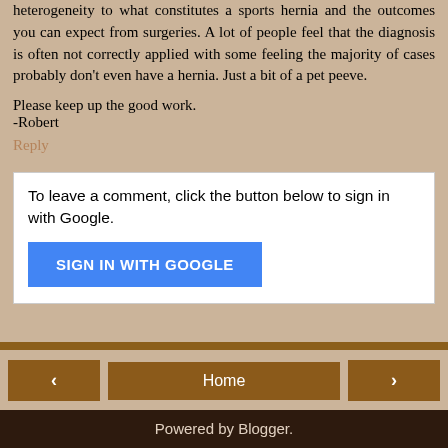heterogeneity to what constitutes a sports hernia and the outcomes you can expect from surgeries. A lot of people feel that the diagnosis is often not correctly applied with some feeling the majority of cases probably don't even have a hernia. Just a bit of a pet peeve.
Please keep up the good work.
-Robert
Reply
To leave a comment, click the button below to sign in with Google.
SIGN IN WITH GOOGLE
Home
View web version
Powered by Blogger.